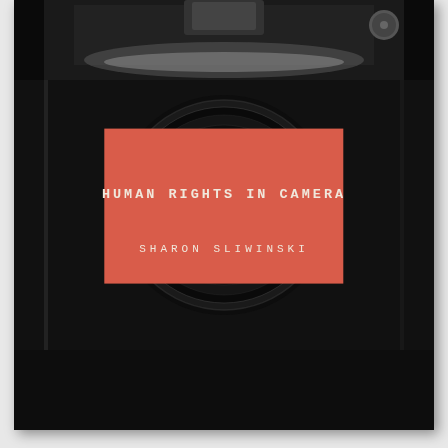[Figure (photo): Book cover showing a close-up black and white photo of a camera lens/body filling the entire background. A salmon/coral red rectangle is centered in the lower-middle portion of the cover, containing the title and author name in white spaced monospace lettering.]
HUMAN RIGHTS IN CAMERA
SHARON SLIWINSKI